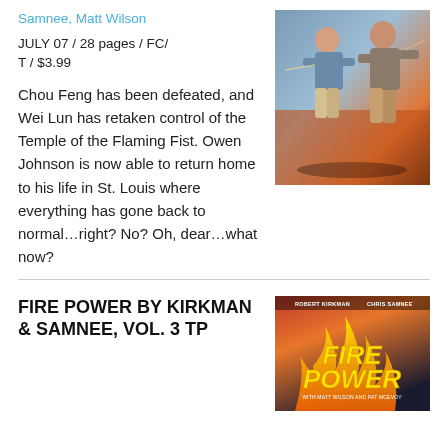Samnee, Matt Wilson
JULY 07 / 28 pages / FC/ T / $3.99
[Figure (illustration): Comic book cover art showing two martial arts fighters in action poses against an orange and dark background]
Chou Feng has been defeated, and Wei Lun has retaken control of the Temple of the Flaming Fist. Owen Johnson is now able to return home to his life in St. Louis where everything has gone back to normal…right? No? Oh, dear…what now?
FIRE POWER BY KIRKMAN & SAMNEE, VOL. 3 TP
[Figure (illustration): Fire Power comic book volume 3 trade paperback cover showing the title FIRE POWER in large yellow letters on a red and orange fiery background, with author credits Robert Kirkman and Chris Samnee at the top]